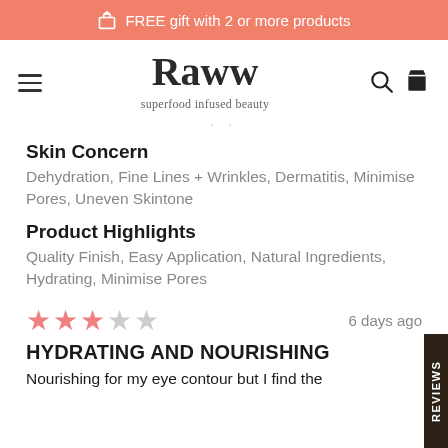FREE gift with 2 or more products
[Figure (logo): Raww superfood infused beauty logo with hamburger menu, search and cart icons]
Skin Concern
Dehydration, Fine Lines + Wrinkles, Dermatitis, Minimise Pores, Uneven Skintone
Product Highlights
Quality Finish, Easy Application, Natural Ingredients, Hydrating, Minimise Pores
3 out of 5 stars · 6 days ago
HYDRATING AND NOURISHING
Nourishing for my eye contour but I find the